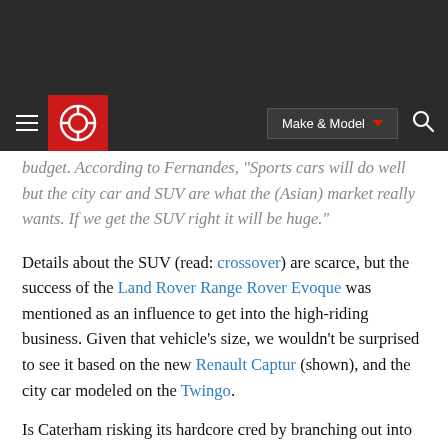Caterham navigation bar with Make & Model selector and search
budget. According to Fernandes, "Sports cars will do well but the city car and SUV are what the (Asian) market really wants. If we get the SUV right it will be huge."
Details about the SUV (read: crossover) are scarce, but the success of the Land Rover Range Rover Evoque was mentioned as an influence to get into the high-riding business. Given that vehicle's size, we wouldn't be surprised to see it based on the new Renault Captur (shown), and the city car modeled on the Twingo.
Is Caterham risking its hardcore cred by branching out into such disparate segments, and/or is this just the price of doing business these days? Have your say in Comments.